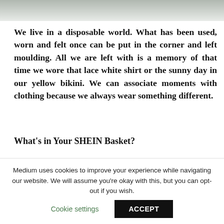[Figure (photo): Top portion of a photo, light grey/green background, partially visible]
We live in a disposable world. What has been used, worn and felt once can be put in the corner and left moulding. All we are left with is a memory of that time we wore that lace white shirt or the sunny day in our yellow bikini. We can associate moments with clothing because we always wear something different.
What's in Your SHEIN Basket?
I think most of us are well aware of the current climate crisis
Medium uses cookies to improve your experience while navigating our website. We will assume you're okay with this, but you can opt-out if you wish.
Cookie settings
ACCEPT